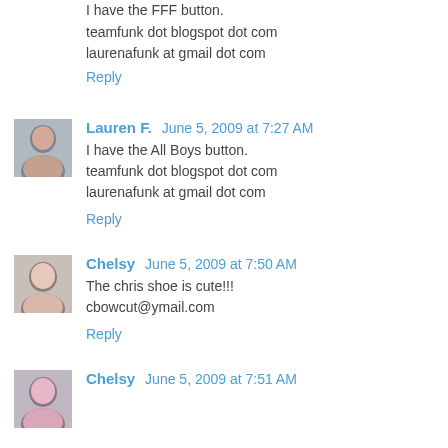I have the FFF button.
teamfunk dot blogspot dot com
laurenafunk at gmail dot com
Reply
Lauren F.  June 5, 2009 at 7:27 AM
I have the All Boys button.
teamfunk dot blogspot dot com
laurenafunk at gmail dot com
Reply
Chelsy  June 5, 2009 at 7:50 AM
The chris shoe is cute!!!
cbowcut@ymail.com
Reply
Chelsy  June 5, 2009 at 7:51 AM